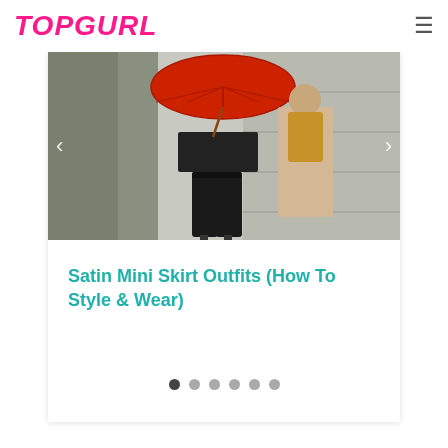TOPGURL
[Figure (photo): Street style photo of a person wearing a black mini skirt and tall black over-the-knee boots, holding a red umbrella, with another person in a beige coat on stone steps in the background.]
Satin Mini Skirt Outfits (How To Style & Wear)